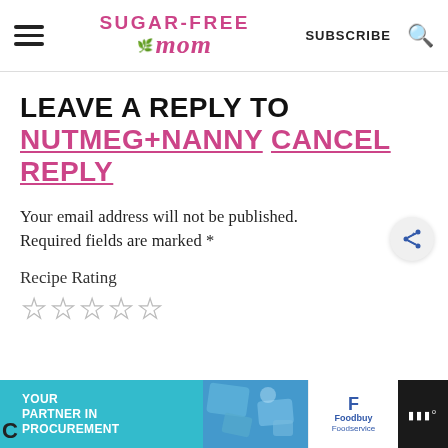Sugar-Free Mom — SUBSCRIBE
LEAVE A REPLY TO NUTMEG+NANNY CANCEL REPLY
Your email address will not be published.
Required fields are marked *
Recipe Rating
[Figure (other): Five empty star rating icons]
[Figure (infographic): Advertisement banner: YOUR PARTNER IN PROCUREMENT with Foodbuy Foodservice logo]